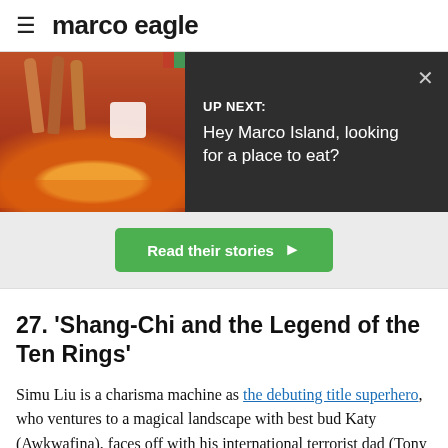≡ marco eagle
[Figure (screenshot): UP NEXT banner with food photo thumbnail (fried chicken/ribs), dark background overlay. Text: 'UP NEXT: Hey Marco Island, looking for a place to eat?' with X close button.]
[Figure (other): Green button partially visible reading 'Read their stories' with right arrow]
27. 'Shang-Chi and the Legend of the Ten Rings'
Simu Liu is a charisma machine as the debuting title superhero, who ventures to a magical landscape with best bud Katy (Awkwafina), faces off with his international terrorist dad (Tony Leung), and tackles an otherworldly creature of darkness, while an appearance from sorcerer